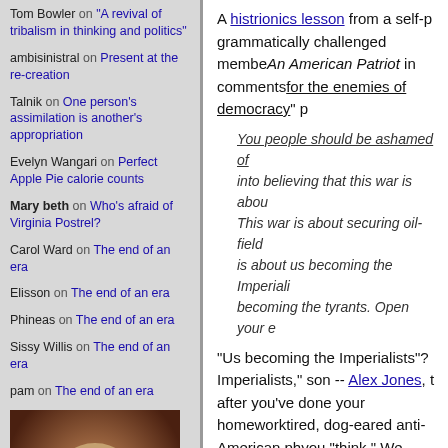Tom Bowler on "A revival of tribalism in thinking and politics"
ambisinistral on Present at the re-creation
Talnik on One person's assimilation is another's appropriation
Evelyn Wangari on Perfect Apple Pie calorie counts
Mary beth on Who's afraid of Virginia Postrel?
Carol Ward on The end of an era
Elisson on The end of an era
Phineas on The end of an era
Sissy Willis on The end of an era
pam on The end of an era
[Figure (photo): Sepia-toned portrait photograph of an elderly Charles Darwin with white beard]
A histrionics lesson from a self-proclaimed grammatically challenged member An American Patriot in comments for the enemies of democracy" p...
You people should be ashamed of... into believing that this war is abou... This war is about securing oil-field... is about us becoming the Imperiali... becoming the tyrants. Open your e...
"Us becoming the Imperialists"? Imperialists," son -- Alex Jones, t... after you've done your homework... tired, dog-eared anti-American ph... you "think." We were struck with... youngster's introductory paragrap... as in "I am quite successful finan... to the top through good old-fashi... that, but...